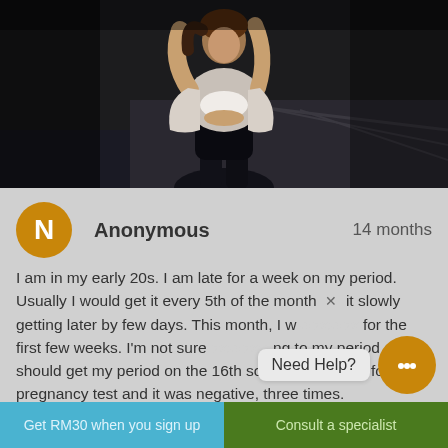[Figure (photo): Woman in athletic wear (white sports bra and jacket) stretching arms overhead, photographed outdoors at a marina/dock in dark moody lighting]
Anonymous   14 months
I am in my early 20s. I am late for a week on my period. Usually I would get it every 5th of the month and it slowly getting later by few days. This month, I was for the first few weeks. I'm not sure to my period app, I should get my period on the 16th so I tested myself for the pregnancy test and it was negative, three times.
Need Help?
Get RM30 when you sign up   Consult a specialist